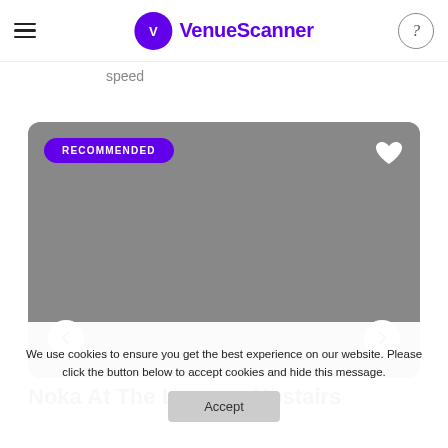VenueScanner
speed
[Figure (screenshot): Venue image card with RECOMMENDED badge, heart icon, and navigation arrows left and right. Gray placeholder image background.]
Noka At The Lounge, Upstairs
We use cookies to ensure you get the best experience on our website. Please click the button below to accept cookies and hide this message.